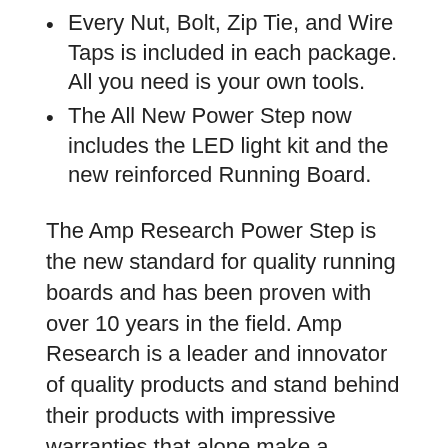Every Nut, Bolt, Zip Tie, and Wire Taps is included in each package. All you need is your own tools.
The All New Power Step now includes the LED light kit and the new reinforced Running Board.
The Amp Research Power Step is the new standard for quality running boards and has been proven with over 10 years in the field. Amp Research is a leader and innovator of quality products and stand behind their products with impressive warranties that alone make a statement that quality is not ever to be compromised. ElectricStep is a National In-Stock Shipping center and continues to lead the industry not just in sales but in superior customer service and technical assistance. At ElectricStep we pride ourselves in saying "even if you don't purchase your step form us and need technical help feel free to call us, that's what we are here for."
The Amp Research Power Step is made in the United